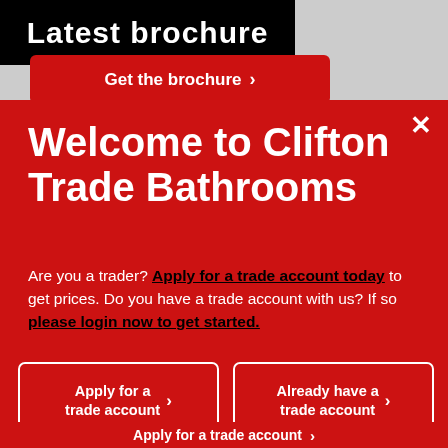[Figure (screenshot): Top banner with black bar showing 'Latest brochure' text and a red 'Get the brochure >' button below it]
Welcome to Clifton Trade Bathrooms
Are you a trader? Apply for a trade account today to get prices. Do you have a trade account with us? If so please login now to get started.
Apply for a trade account >
Already have a trade account >
Apply for a trade account >